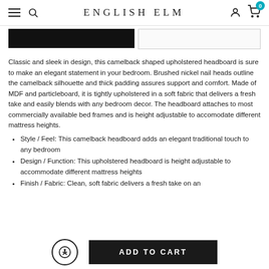ENGLISH ELM
Classic and sleek in design, this camelback shaped upholstered headboard is sure to make an elegant statement in your bedroom. Brushed nickel nail heads outline the camelback silhouette and thick padding assures support and comfort. Made of MDF and particleboard, it is tightly upholstered in a soft fabric that delivers a fresh take and easily blends with any bedroom decor. The headboard attaches to most commercially available bed frames and is height adjustable to accomodate different mattress heights.
Style / Feel: This camelback headboard adds an elegant traditional touch to any bedroom
Design / Function: This upholstered headboard is height adjustable to accommodate different mattress heights
Finish / Fabric: Clean, soft fabric delivers a fresh take on an